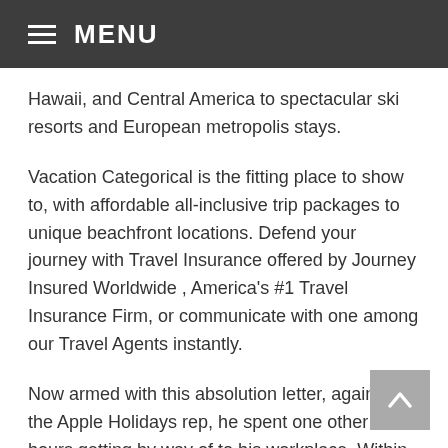MENU
Hawaii, and Central America to spectacular ski resorts and European metropolis stays.
Vacation Categorical is the fitting place to show to, with affordable all-inclusive trip packages to unique beachfront locations. Defend your journey with Travel Insurance offered by Journey Insured Worldwide , America's #1 Travel Insurance Firm, or communicate with one among our Travel Agents instantly.
Now armed with this absolution letter, again to the Apple Holidays rep, he spent one other 2 hours getting by way of to his workplace. Within the late Nineteen Seventies, the company grew to become one of many first to introduce the